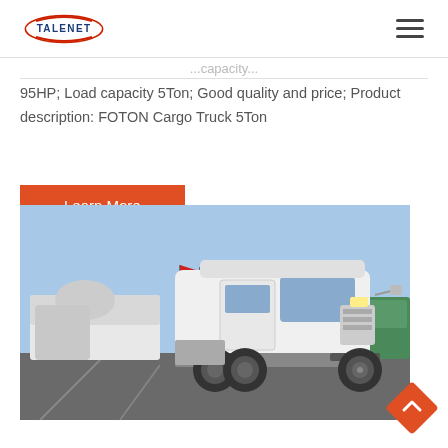TALENET
95HP; Load capacity 5Ton; Good quality and price; Product description: FOTON Cargo Truck 5Ton
Learn More
[Figure (photo): Photo of a white semi-truck/tractor unit in a parking lot with other trucks and construction vehicles in the background, under a blue sky with red flags visible.]